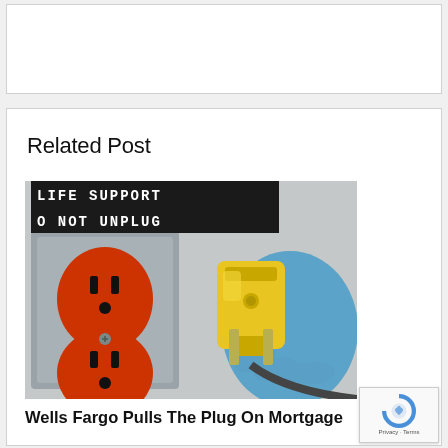Related Post
[Figure (photo): Photo of an electrical outlet labeled 'LIFE SUPPORT DO NOT UNPLUG' with orange receptacles, and a gloved hand holding a yellow electrical plug about to be unplugged.]
Wells Fargo Pulls The Plug On Mortgage